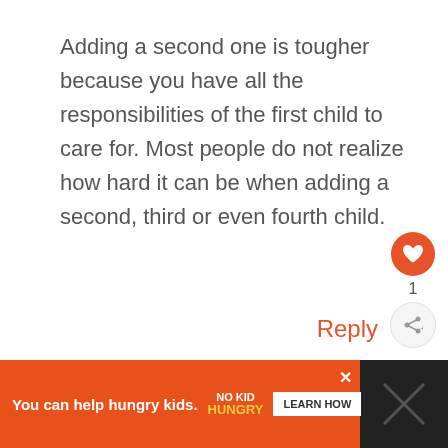Adding a second one is tougher because you have all the responsibilities of the first child to care for. Most people do not realize how hard it can be when adding a second, third or even fourth child.
Reply
[Figure (infographic): Heart (like) button in orange circle with count of 1, and a share button below]
[Figure (infographic): Advertisement bar: orange background with 'You can help hungry kids.' text, No Kid Hungry logo, and LEARN HOW button. Dark section on right with X icon.]